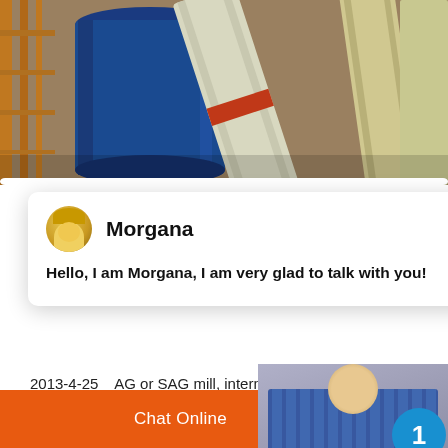[Figure (photo): Industrial mill equipment — large blue cylindrical tank, insulated pipes with orange band/stripe, scaffolding and structural supports in an industrial facility]
[Figure (screenshot): Chat popup with avatar of Morgana (female customer service agent), name 'Morgana', message: 'Hello, I am Morgana, I am very glad to talk with you!' and a close (×) button]
2013-4-25    AG or SAG mill, intermediate ball mill or tower mill, and fine grinding to such as an Isamill or Stirred Media Detrito
[Figure (screenshot): Live chat widget on right side: photo of person in striped blue shirt, blue circle badge with number 1, orange 'Click to chat' button, and orange 'Enquiry' button]
Chat Online    cywaitml @gmail.com